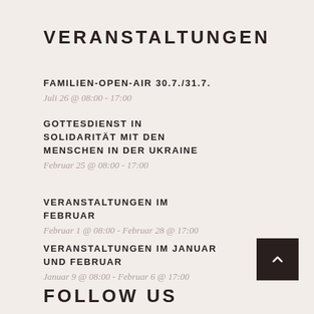VERANSTALTUNGEN
FAMILIEN-OPEN-AIR 30.7./31.7.
Juli 26 @ 08:00 - 17:00
GOTTESDIENST IN SOLIDARITÄT MIT DEN MENSCHEN IN DER UKRAINE
Februar 25 @ 08:00 - 17:00
VERANSTALTUNGEN IM FEBRUAR
Februar 1 @ 08:00 - Februar 28 @ 17:00
VERANSTALTUNGEN IM JANUAR UND FEBRUAR
Januar 9 @ 08:00 - Februar 6 @ 17:00
FOLLOW US